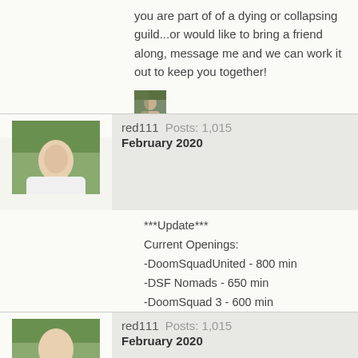you are part of of a dying or collapsing guild...or would like to bring a friend along, message me and we can work it out to keep you together!
[Figure (photo): Small thumbnail avatar photo showing two people]
red111   Posts: 1,015
February 2020
***Update***
Current Openings:
-DoomSquadUnited - 800 min
-DSF Nomads - 650 min
-DoomSquad 3 - 600 min
-DoomSquad Inc - 500 min
-DoomSquadCBLOCK - 500 min
red111   Posts: 1,015
February 2020